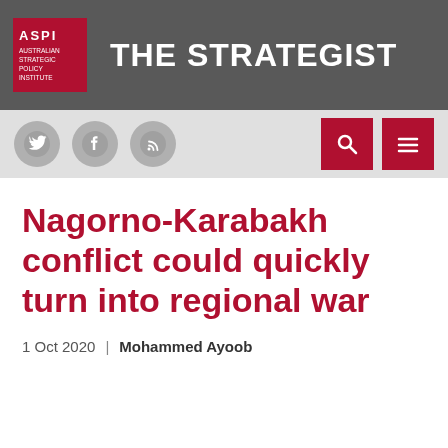THE STRATEGIST
Nagorno-Karabakh conflict could quickly turn into regional war
1 Oct 2020 | Mohammed Ayoob